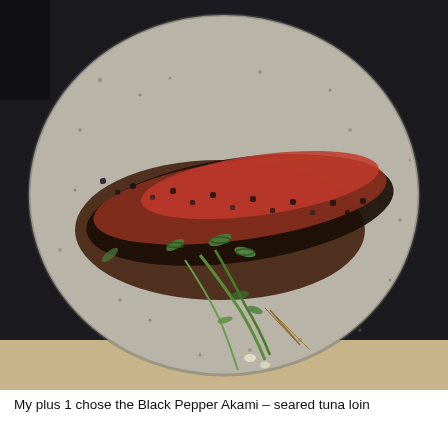[Figure (photo): A plated dish on a speckled grey ceramic plate: a seared tuna loin with black pepper crust and red chili topping, garnished with sliced green onions, herbs, and microgreens, with a dark sauce pooled beneath it.]
My plus 1 chose the Black Pepper Akami – seared tuna loin